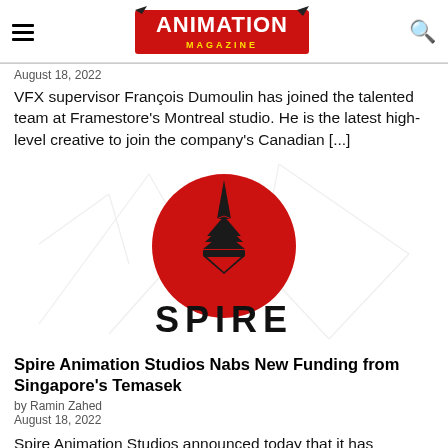Animation Magazine
August 18, 2022
VFX supervisor François Dumoulin has joined the talented team at Framestore's Montreal studio. He is the latest high-level creative to join the company's Canadian [...]
[Figure (logo): Spire Animation Studios logo: red circle with black spire/tower shape inside, text SPIRE below in bold black letters, on a white background with faint decorative lines]
Spire Animation Studios Nabs New Funding from Singapore's Temasek
by Ramin Zahed
August 18, 2022
Spire Animation Studios announced today that it has